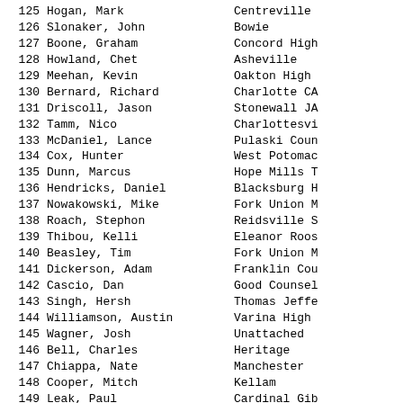| # | Name | School |
| --- | --- | --- |
| 125 | Hogan, Mark | Centreville |
| 126 | Slonaker, John | Bowie |
| 127 | Boone, Graham | Concord High |
| 128 | Howland, Chet | Asheville |
| 129 | Meehan, Kevin | Oakton High |
| 130 | Bernard, Richard | Charlotte CA |
| 131 | Driscoll, Jason | Stonewall JA |
| 132 | Tamm, Nico | Charlottesvi |
| 133 | McDaniel, Lance | Pulaski Coun |
| 134 | Cox, Hunter | West Potomac |
| 135 | Dunn, Marcus | Hope Mills T |
| 136 | Hendricks, Daniel | Blacksburg H |
| 137 | Nowakowski, Mike | Fork Union M |
| 138 | Roach, Stephon | Reidsville S |
| 139 | Thibou, Kelli | Eleanor Roos |
| 140 | Beasley, Tim | Fork Union M |
| 141 | Dickerson, Adam | Franklin Cou |
| 142 | Cascio, Dan | Good Counsel |
| 143 | Singh, Hersh | Thomas Jeffe |
| 144 | Williamson, Austin | Varina High |
| 145 | Wagner, Josh | Unattached |
| 146 | Bell, Charles | Heritage |
| 147 | Chiappa, Nate | Manchester |
| 148 | Cooper, Mitch | Kellam |
| 149 | Leak, Paul | Cardinal Gib |
| 150 | Daughety, Craig | South Lakes |
| 151 | Severo, Tim | Randolph-Mac |
| 152 | Myers, Michael | Patrick Henr |
| 153 | Rodriguez, Fabian | SurryCentral |
| 154 | Delaplaine, David | Walt Whitman |